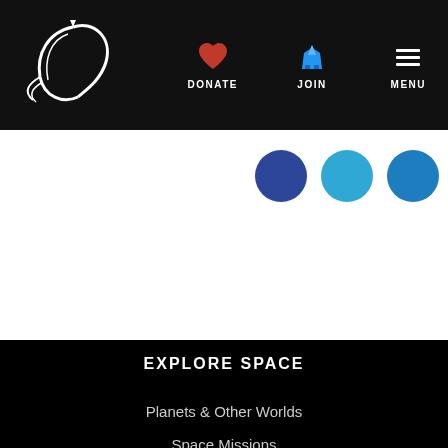Planetary Society navigation bar with logo, DONATE, JOIN, MENU
[Figure (logo): Planetary Society logo - white rocket/comet swoosh design on black background]
DONATE
JOIN
MENU
[Figure (illustration): Three social media circle icons in dark blue, light blue, and teal on white background]
EXPLORE SPACE
Planets & Other Worlds
Space Missions
Night Sky
Space Policy